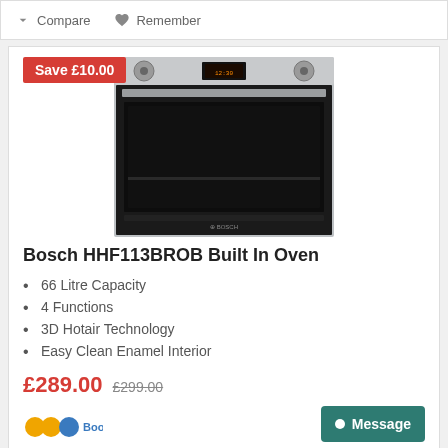Compare   Remember
[Figure (photo): Bosch HHF113BROB Built In Oven product photo showing a stainless steel and black built-in oven with digital display and two control knobs]
Bosch HHF113BROB Built In Oven
66 Litre Capacity
4 Functions
3D Hotair Technology
Easy Clean Enamel Interior
£289.00  £299.00
Save £10.00